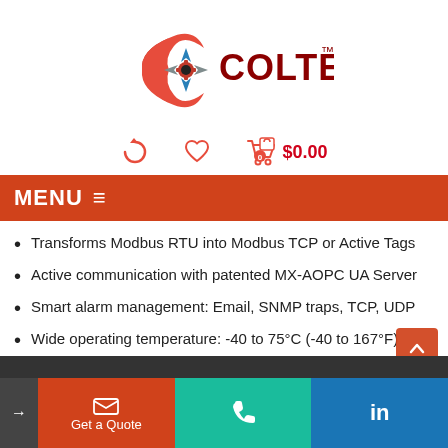[Figure (logo): Colterlec logo with red compass/swoosh and dark red COLTERLEC text with TM mark]
[Figure (infographic): Icon bar with refresh icon, heart/wishlist icon, and shopping cart with $0.00]
MENU ≡
Transforms Modbus RTU into Modbus TCP or Active Tags
Active communication with patented MX-AOPC UA Server
Smart alarm management: Email, SNMP traps, TCP, UDP
Wide operating temperature: -40 to 75°C (-40 to 167°F)
SKU: MOioLogik 2512T / Category: Smart Remote I/O